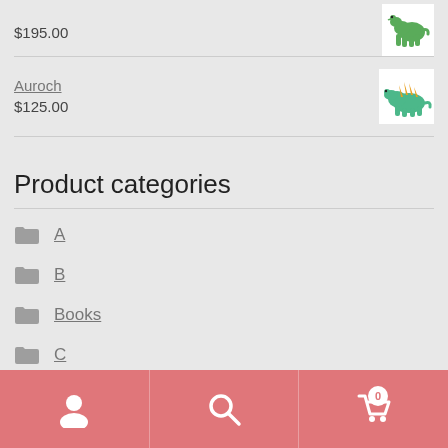$195.00
[Figure (photo): Dinosaur toy thumbnail (green T-Rex like figure)]
Auroch
$125.00
[Figure (photo): Dinosaur toy thumbnail (orange and green stegosaurus-like figure)]
Product categories
A
B
Books
C
D
User | Search | Cart (0)